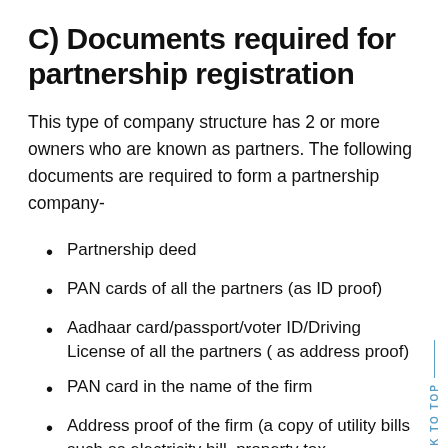C) Documents required for partnership registration
This type of company structure has 2 or more owners who are known as partners. The following documents are required to form a partnership company-
Partnership deed
PAN cards of all the partners (as ID proof)
Aadhaar card/passport/voter ID/Driving License of all the partners ( as address proof)
PAN card in the name of the firm
Address proof of the firm (a copy of utility bills such as electricity bill, property tax